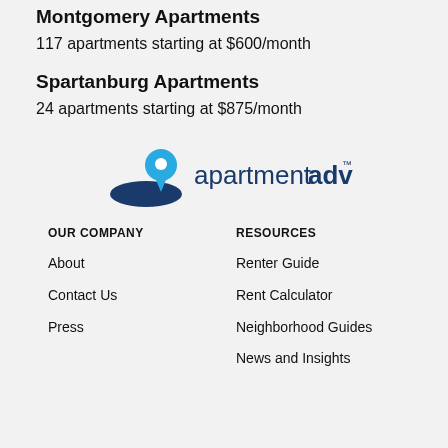Montgomery Apartments
117 apartments starting at $600/month
Spartanburg Apartments
24 apartments starting at $875/month
[Figure (logo): apartmentadvisor logo with map pin icon]
OUR COMPANY
About
Contact Us
Press
RESOURCES
Renter Guide
Rent Calculator
Neighborhood Guides
News and Insights